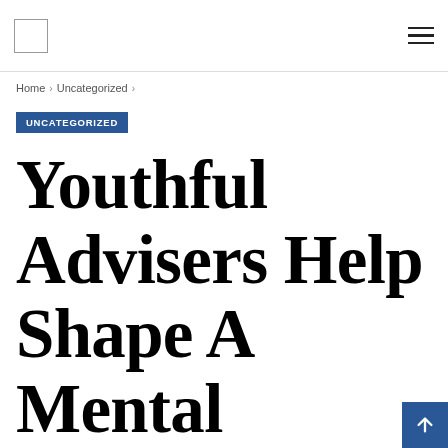Navigation bar with logo and hamburger menu
Home > Uncategorized >
UNCATEGORIZED
Youthful Advisers Help Shape A Mental Health Program For Their P…